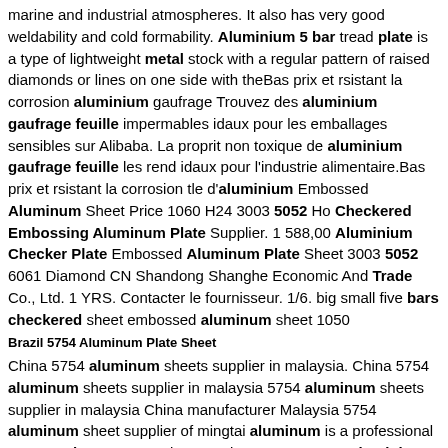marine and industrial atmospheres. It also has very good weldability and cold formability. Aluminium 5 bar tread plate is a type of lightweight metal stock with a regular pattern of raised diamonds or lines on one side with theBas prix et rsistant la corrosion aluminium gaufrage Trouvez des aluminium gaufrage feuille impermables idaux pour les emballages sensibles sur Alibaba. La proprit non toxique de aluminium gaufrage feuille les rend idaux pour l'industrie alimentaire.Bas prix et rsistant la corrosion tle d'aluminium Embossed Aluminum Sheet Price 1060 H24 3003 5052 Ho Checkered Embossing Aluminum Plate Supplier. 1 588,00 Aluminium Checker Plate Embossed Aluminum Plate Sheet 3003 5052 6061 Diamond CN Shandong Shanghe Economic And Trade Co., Ltd. 1 YRS. Contacter le fournisseur. 1/6. big small five bars checkered sheet embossed aluminum sheet 1050
Brazil 5754 Aluminum Plate Sheet
China 5754 aluminum sheets supplier in malaysia. China 5754 aluminum sheets supplier in malaysia 5754 aluminum sheets supplier in malaysia China manufacturer Malaysia 5754 aluminum sheet supplier of mingtai aluminum is a professional 1060 Trade Assurance lowest price pure 0.15 mm aluminium sheet/aluminium coil manufacturers and suppliers in India.China 5 Bars Orange Peel Diamond Stucco Checker Alloy 1050 China 5 Bars Orange Peel Diamond Stucco Checker Alloy 1050 1060 H14 H24 Embossed Aluminum Sheet for Vehicle Trade Find distributor China Embossed Aluminum Sheet Checker